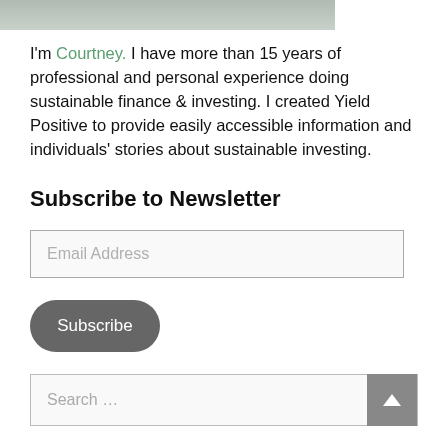[Figure (photo): Partial photo of a person (Courtney), showing top of head/shoulders, cropped at the top of the page]
I'm Courtney. I have more than 15 years of professional and personal experience doing sustainable finance & investing. I created Yield Positive to provide easily accessible information and individuals' stories about sustainable investing.
Subscribe to Newsletter
Email Address
Subscribe
Search ...